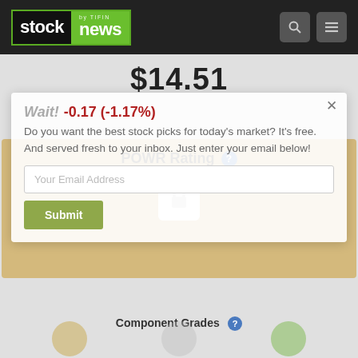[Figure (screenshot): Stock News website navigation bar with logo (stock|news by TIFIN), search icon, and hamburger menu icon on dark background]
$14.51
-0.17 (-1.17%)
Wait!
POWR Rating
Do you want the best stock picks for today's market? It's free. And served fresh to your inbox. Just enter your email below!
Your Email Address
Submit
Component Grades